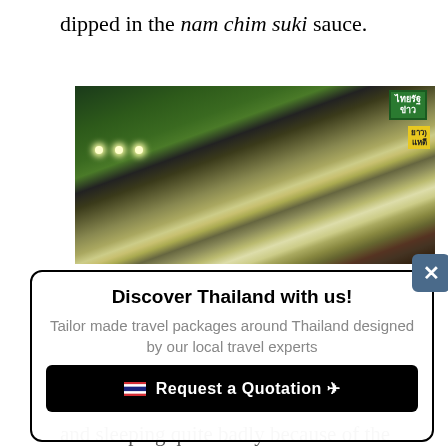dipped in the nam chim suki sauce.
[Figure (photo): A busy Thai street market at night with colorful illuminated signs, stalls, and bright overhead lights. Green signage with Thai script visible on the right side.]
Discover Thailand with us!
Tailor made travel packages around Thailand designed by our local travel experts
🇹🇭 Request a Quotation ✈
and sleeping quite badly because of the